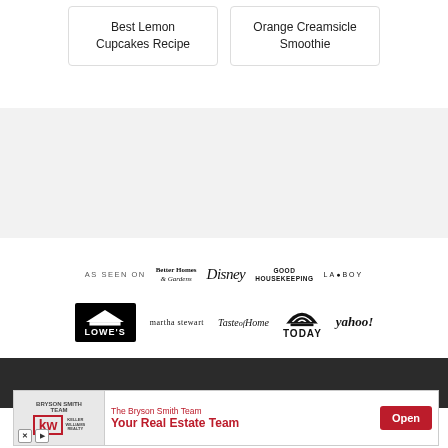Best Lemon Cupcakes Recipe
Orange Creamsicle Smoothie
[Figure (other): Gray banner/advertisement placeholder area]
AS SEEN ON  Better Homes & Gardens  Disney  Good Housekeeping  LA BOY
Lowe's  martha stewart  Taste of Home  TODAY  yahoo!
[Figure (other): Advertisement banner: The Bryson Smith Team - Your Real Estate Team - Open button]